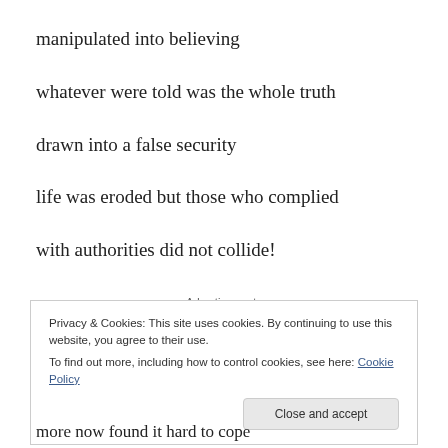manipulated into believing
whatever were told was the whole truth
drawn into a false security
life was eroded but those who complied
with authorities did not collide!
Advertisements
Privacy & Cookies: This site uses cookies. By continuing to use this website, you agree to their use.
To find out more, including how to control cookies, see here: Cookie Policy
Close and accept
more now found it hard to cope